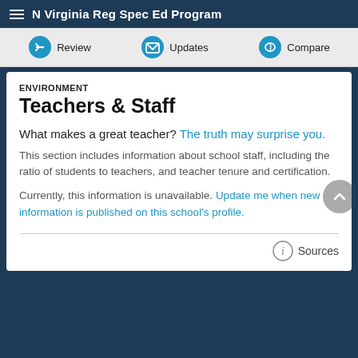N Virginia Reg Spec Ed Program
Review | Updates | Compare
ENVIRONMENT
Teachers & Staff
What makes a great teacher? The truth may surprise you.
This section includes information about school staff, including the ratio of students to teachers, and teacher tenure and certification.
Currently, this information is unavailable. Update me when new information is published on this school's profile.